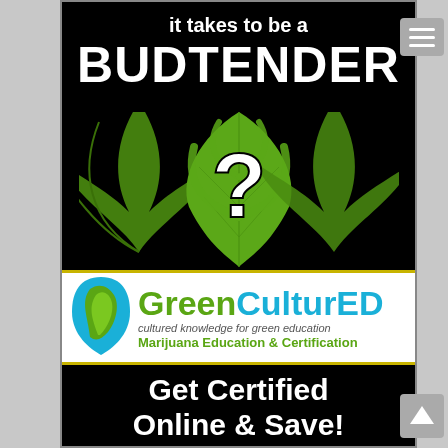it takes to be a
BUDTENDER
[Figure (illustration): Cannabis marijuana leaf with a large white question mark overlaid on a black background]
[Figure (logo): GreenCulturED logo with blue and green leaf icon, text reads 'GreenCulturED - cultured knowledge for green education - Marijuana Education & Certification']
Get Certified Online & Save!